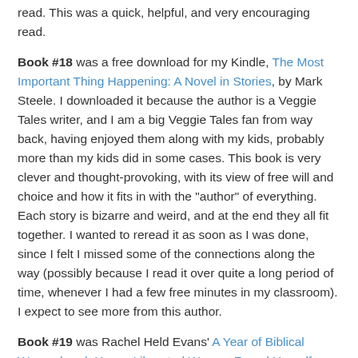read. This was a quick, helpful, and very encouraging read.
Book #18 was a free download for my Kindle, The Most Important Thing Happening: A Novel in Stories, by Mark Steele. I downloaded it because the author is a Veggie Tales writer, and I am a big Veggie Tales fan from way back, having enjoyed them along with my kids, probably more than my kids did in some cases. This book is very clever and thought-provoking, with its view of free will and choice and how it fits in with the "author" of everything. Each story is bizarre and weird, and at the end they all fit together. I wanted to reread it as soon as I was done, since I felt I missed some of the connections along the way (possibly because I read it over quite a long period of time, whenever I had a few free minutes in my classroom). I expect to see more from this author.
Book #19 was Rachel Held Evans' A Year of Biblical Womanhood: How a Liberated Woman Found Herself Sitting on Her Roof, Covering Her Head, and Calling Her Husband "Master". I have been reading Evans' blog for a while, and I very much appreciate the fearless way she attacks difficult